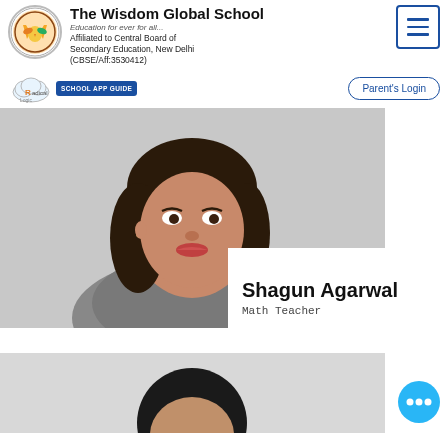[Figure (logo): The Wisdom Global School circular logo with W emblem]
The Wisdom Global School
Education for ever for all...
Affiliated to Central Board of Secondary Education, New Delhi (CBSE/Aff:3530412)
[Figure (logo): Radical Logic school app guide logo with cloud icon]
SCHOOL APP GUIDE
Parent's Login
[Figure (photo): Portrait photo of Shagun Agarwal, Math Teacher]
Shagun Agarwal
Math Teacher
[Figure (photo): Partial portrait photo of second teacher at bottom]